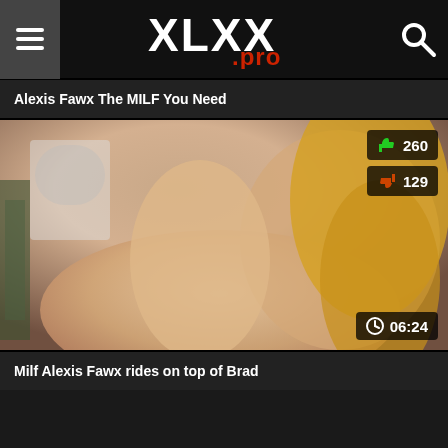XLXX.pro
Alexis Fawx The MILF You Need
[Figure (screenshot): Video thumbnail showing adult content with like count 260, dislike count 129, and duration 06:24]
Milf Alexis Fawx rides on top of Brad